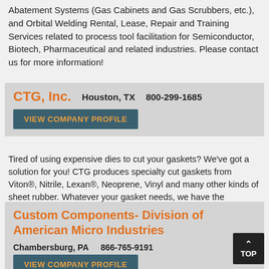Abatement Systems (Gas Cabinets and Gas Scrubbers, etc.), and Orbital Welding Rental, Lease, Repair and Training Services related to process tool facilitation for Semiconductor, Biotech, Pharmaceutical and related industries. Please contact us for more information!
CTG, Inc.    Houston, TX    800-299-1685
VIEW COMPANY PROFILE
Tired of using expensive dies to cut your gaskets? We've got a solution for you! CTG produces specialty cut gaskets from Viton®, Nitrile, Lexan®, Neoprene, Vinyl and many other kinds of sheet rubber. Whatever your gasket needs, we have the machinery to get it done.
Custom Components- Division of American Micro Industries   Chambersburg, PA    866-765-9191
VIEW COMPANY PROFILE